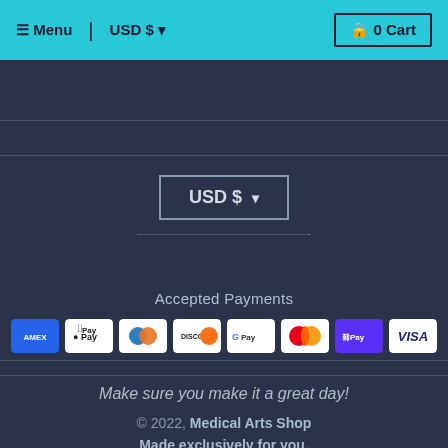Menu | USD $ ▾   🔒 0 Cart
USD $ ▾
Accepted Payments
[Figure (other): Row of payment method icons: AMEX, Apple Pay, Diners Club, Discover, Google Pay, Mastercard, ShopPay, Visa]
Make sure you make it a great day!
© 2022, Medical Arts Shop
Made exclusively for you.